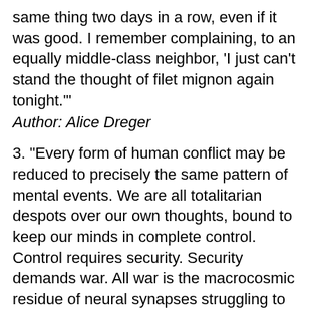same thing two days in a row, even if it was good. I remember complaining, to an equally middle-class neighbor, 'I just can't stand the thought of filet mignon again tonight.'" Author: Alice Dreger
3. "Every form of human conflict may be reduced to precisely the same pattern of mental events. We are all totalitarian despots over our own thoughts, bound to keep our minds in complete control. Control requires security. Security demands war. All war is the macrocosmic residue of neural synapses struggling to maintain their rhythm." Author: Bo Jinn
4. "Just because women can bear children doesn't mean they're unable to harbour the same sort of career ambitions as a man." Author: Cathy Kelly
5. "God created... light and dark, heaven and